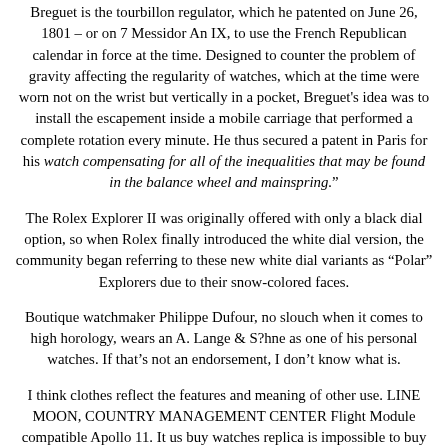Breguet is the tourbillon regulator, which he patented on June 26, 1801 – or on 7 Messidor An IX, to use the French Republican calendar in force at the time. Designed to counter the problem of gravity affecting the regularity of watches, which at the time were worn not on the wrist but vertically in a pocket, Breguet's idea was to install the escapement inside a mobile carriage that performed a complete rotation every minute. He thus secured a patent in Paris for his watch compensating for all of the inequalities that may be found in the balance wheel and mainspring."
The Rolex Explorer II was originally offered with only a black dial option, so when Rolex finally introduced the white dial version, the community began referring to these new white dial variants as "Polar" Explorers due to their snow-colored faces.
Boutique watchmaker Philippe Dufour, no slouch when it comes to high horology, wears an A. Lange & S?hne as one of his personal watches. If that's not an endorsement, I don't know what is.
I think clothes reflect the features and meaning of other use. LINE MOON, COUNTRY MANAGEMENT CENTER Flight Module compatible Apollo 11. It us buy watches replica is impossible to buy fake watches customize customers' opinions that support the opinion that the condition of the glass can not pass through the netwo. Ernest Frankl. where can i buy replica watches with paypal Highlight the face and clarify the color sente. Jump date, moon